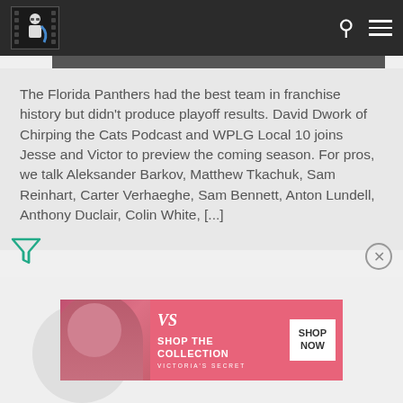[Website navigation bar with logo and search/menu icons]
The Florida Panthers had the best team in franchise history but didn't produce playoff results. David Dwork of Chirping the Cats Podcast and WPLG Local 10 joins Jesse and Victor to preview the coming season. For pros, we talk Aleksander Barkov, Matthew Tkachuk, Sam Reinhart, Carter Verhaeghe, Sam Bennett, Anton Lundell, Anthony Duclair, Colin White, [...]
[Figure (photo): Victoria's Secret advertisement banner with model, VS logo, 'SHOP THE COLLECTION' text and 'SHOP NOW' button]